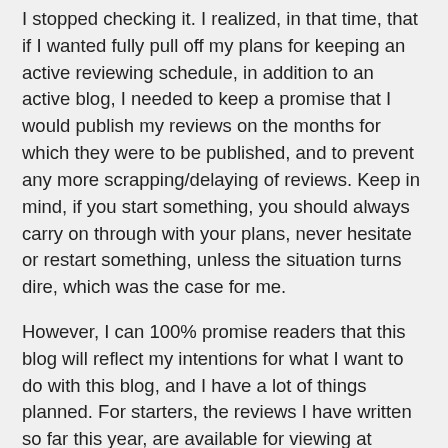I stopped checking it. I realized, in that time, that if I wanted fully pull off my plans for keeping an active reviewing schedule, in addition to an active blog, I needed to keep a promise that I would publish my reviews on the months for which they were to be published, and to prevent any more scrapping/delaying of reviews. Keep in mind, if you start something, you should always carry on through with your plans, never hesitate or restart something, unless the situation turns dire, which was the case for me.
However, I can 100% promise readers that this blog will reflect my intentions for what I want to do with this blog, and I have a lot of things planned. For starters, the reviews I have written so far this year, are available for viewing at Gamefaqs, so when I do publish a review to the blog, I'll also provide a link to the one on Gamefaqs as well. The primary focus of this blog is primarily game reviews, but I want to do other things besides that, to keep things interesting. Other types of posts I have plan to do on this blog include movie reviews, expanded discussions regarding my thoughts on certain games that I review, and more which you will see this year and later on down the line.